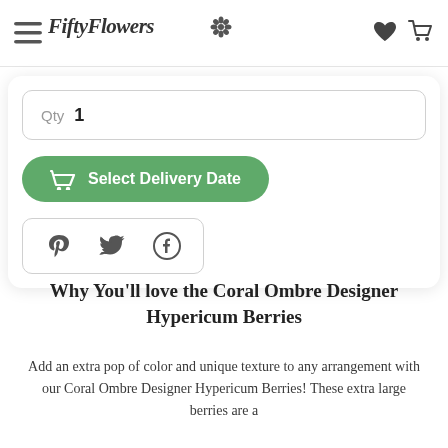FiftyFlowers
Qty 1
Select Delivery Date
[Figure (other): Social share icons row: Pinterest, Twitter, Facebook]
Why You'll love the Coral Ombre Designer Hypericum Berries
Add an extra pop of color and unique texture to any arrangement with our Coral Ombre Designer Hypericum Berries! These extra large berries are a